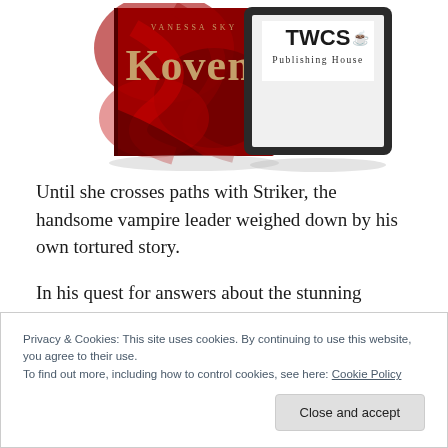[Figure (illustration): Book cover of 'Koven' by Vanessa Sky showing a dark red swirling design with gold title text, displayed alongside an e-reader device with TWCS Publishing House logo]
Until she crosses paths with Striker, the handsome vampire leader weighed down by his own tortured story.
In his quest for answers about the stunning Celeste, Striker finds out more than he ever thought possible—
Privacy & Cookies: This site uses cookies. By continuing to use this website, you agree to their use.
To find out more, including how to control cookies, see here: Cookie Policy
Close and accept